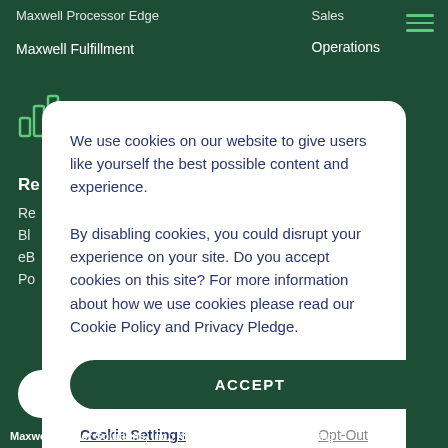Maxwell Processor Edge  |  Sales
Maxwell Fulfillment  |  Operations
[Figure (logo): Maxwell logo with bar chart icon and 'Maxwell' wordmark in white on dark green background]
We use cookies on our website to give users like yourself the best possible content and experience. By disabling cookies, you could disrupt your experience on your site. Do you accept cookies on this site? For more information about how we use cookies please read our Cookie Policy and Privacy Pledge.
ACCEPT
Cookie Settings
Opt-Out
Maxwell Lender Solutions, Inc.; NMLS ID 1946872 For licensing